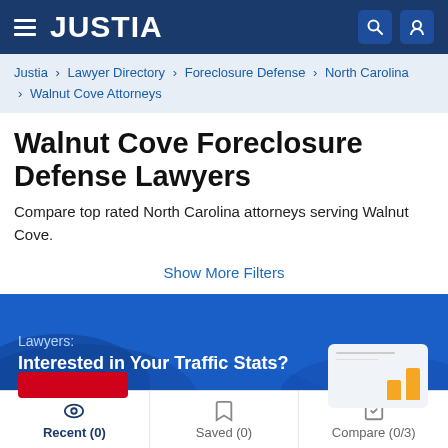JUSTIA
Justia › Lawyer Directory › Foreclosure Defense › North Carolina › Walnut Cove Attorneys
Walnut Cove Foreclosure Defense Lawyers
Compare top rated North Carolina attorneys serving Walnut Cove.
Show More Filters
[Figure (infographic): Blue banner ad reading 'Lawyers: Interested in Your Traffic Stats?' with wave design and a small chart card thumbnail on the right]
Recent (0)   Saved (0)   Compare (0/3)